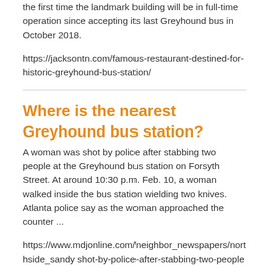the first time the landmark building will be in full-time operation since accepting its last Greyhound bus in October 2018.
https://jacksontn.com/famous-restaurant-destined-for-historic-greyhound-bus-station/
Where is the nearest Greyhound bus station?
A woman was shot by police after stabbing two people at the Greyhound bus station on Forsyth Street. At around 10:30 p.m. Feb. 10, a woman walked inside the bus station wielding two knives. Atlanta police say as the woman approached the counter ...
https://www.mdjonline.com/neighbor_newspapers/northside_sandy shot-by-police-after-stabbing-two-people-at-greyhound-bus-station/article_4466201c-8b6d-11ec-a627-63fe02cef4b9.html